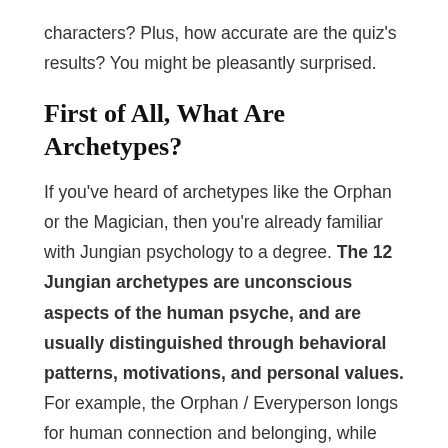characters? Plus, how accurate are the quiz's results? You might be pleasantly surprised.
First of All, What Are Archetypes?
If you've heard of archetypes like the Orphan or the Magician, then you're already familiar with Jungian psychology to a degree. The 12 Jungian archetypes are unconscious aspects of the human psyche, and are usually distinguished through behavioral patterns, motivations, and personal values. For example, the Orphan / Everyperson longs for human connection and belonging, while the Magician focuses on the future and understanding the universe. Thus, how each archetype thinks and interacts with the world will differ because of their psychological